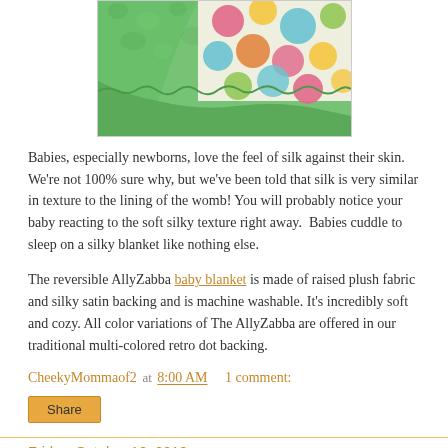[Figure (photo): A colorful baby blanket folded to show both the multi-colored retro dot fabric side and the green plush side]
Babies, especially newborns, love the feel of silk against their skin. We're not 100% sure why, but we've been told that silk is very similar in texture to the lining of the womb! You will probably notice your baby reacting to the soft silky texture right away.  Babies cuddle to sleep on a silky blanket like nothing else.
The reversible AllyZabba baby blanket is made of raised plush fabric and silky satin backing and is machine washable. It's incredibly soft and cozy. All color variations of The AllyZabba are offered in our traditional multi-colored retro dot backing.
CheekyMommaof2 at 8:00 AM    1 comment:
Share
Friday, October 18, 2013